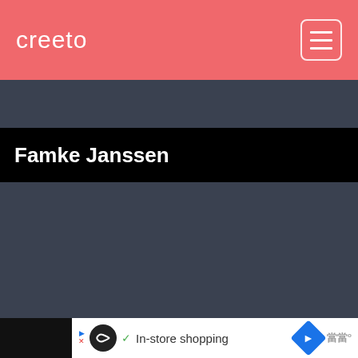creeto
Famke Janssen
[Figure (screenshot): Advertisement banner showing a circular logo, checkmark, 'In-store shopping' text, a blue diamond navigation icon, and a widget logo icon]